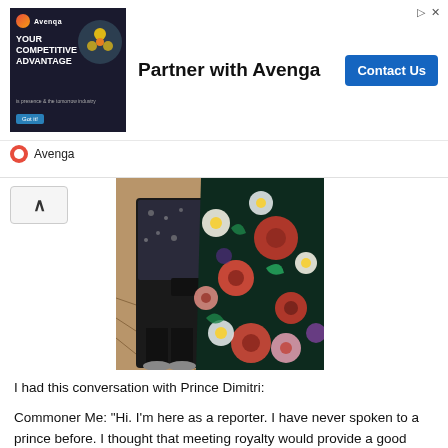[Figure (other): Advertisement banner for Avenga: shows dark-themed image with 'YOUR COMPETITIVE ADVANTAGE' text and Avenga logo on left, 'Partner with Avenga' headline in center, 'Contact Us' blue button on right, with Avenga branding footer]
[Figure (photo): Photo showing two people at a formal event. One person wearing a black sequined outfit, the other wearing a large floral ballgown with red, white, and pink flowers on a dark background. They are standing on an ornate tiled floor.]
I had this conversation with Prince Dimitri:
Commoner Me: “Hi. I’m here as a reporter. I have never spoken to a prince before. I thought that meeting royalty would provide a good angle for what I am writing about this event.”
Prince: “Well, if you are looking for royalty, my cousin the King of